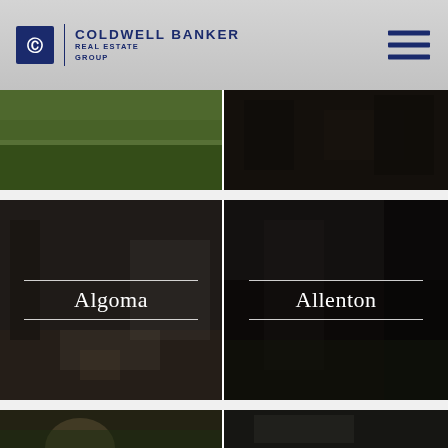[Figure (logo): Coldwell Banker Real Estate Group logo with blue icon and text]
[Figure (illustration): Hamburger menu icon with three blue horizontal bars]
[Figure (photo): Green field/grassland photo, top-left grid cell]
[Figure (photo): Dark interior room photo, top-right grid cell]
[Figure (photo): Interior living room photo with overlay label Algoma]
[Figure (photo): Dark exterior/interior photo with overlay label Allenton]
[Figure (photo): Partial bottom-left photo showing person outdoors]
[Figure (photo): Partial bottom-right photo showing interior]